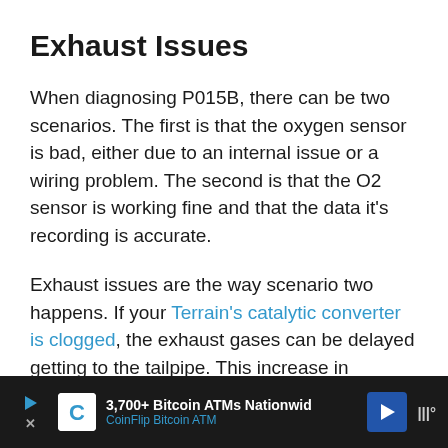Exhaust Issues
When diagnosing P015B, there can be two scenarios. The first is that the oxygen sensor is bad, either due to an internal issue or a wiring problem. The second is that the O2 sensor is working fine and that the data it’s recording is accurate.
Exhaust issues are the way scenario two happens. If your Terrain’s catalytic converter is clogged, the exhaust gases can be delayed getting to the tailpipe. This increase in exhaust pressure can lead
[Figure (infographic): Advertisement banner: 3,700+ Bitcoin ATMs Nationwide - CoinFlip Bitcoin ATM, with play/stop controls, coin icon, blue arrow sign, and meter icon]